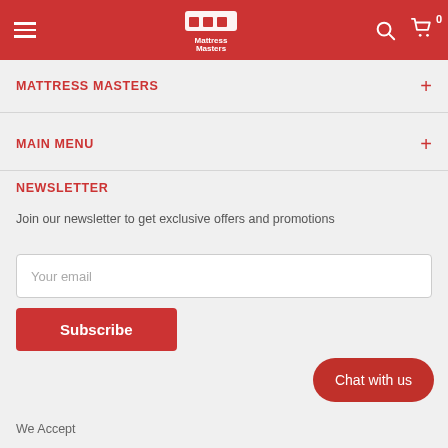Mattress Masters
MATTRESS MASTERS
MAIN MENU
NEWSLETTER
Join our newsletter to get exclusive offers and promotions
Your email
Subscribe
Chat with us
We Accept